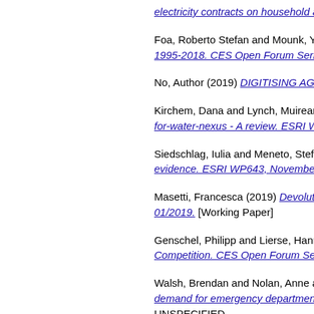electricity contracts on household applia...
Foa, Roberto Stefan and Mounk, Yasch... 1995-2018. CES Open Forum Series 20...
No, Author (2019) DIGITISING AGRIFO...
Kirchem, Dana and Lynch, Muireann A.... for-water-nexus - A review. ESRI WP63...
Siedschlag, Iulia and Meneto, Stefano a... evidence. ESRI WP643, November 201...
Masetti, Francesca (2019) Devolution in... 01/2019. [Working Paper]
Genschel, Philipp and Lierse, Hanna an... Competition. CES Open Forum Series #...
Walsh, Brendan and Nolan, Anne and B... demand for emergency department atte... UNSPECIFIED.
Angel Tovar Reaños, Miguel and Lynch,... a behavioural microsimulation. ESRI W#...